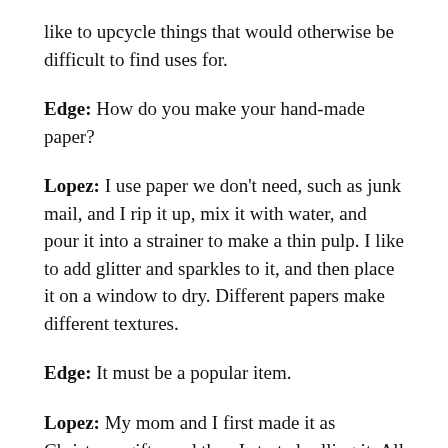like to upcycle things that would otherwise be difficult to find uses for.
Edge: How do you make your hand-made paper?
Lopez: I use paper we don't need, such as junk mail, and I rip it up, mix it with water, and pour it into a strainer to make a thin pulp. I like to add glitter and sparkles to it, and then place it on a window to dry. Different papers make different textures.
Edge: It must be a popular item.
Lopez: My mom and I first made it as Christmas gifts, and then I started selling it. All of the profits for the paper and 5% of my profits from everything else I sell